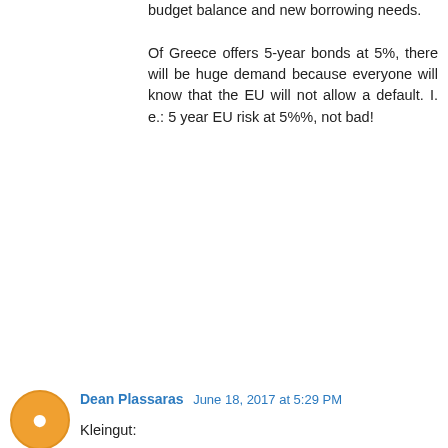budget balance and new borrowing needs.

Of Greece offers 5-year bonds at 5%, there will be huge demand because everyone will know that the EU will not allow a default. I. e.: 5 year EU risk at 5%%, not bad!
Dean Plassaras  June 18, 2017 at 5:29 PM
Kleingut:
We have known each for a long time and I have come to the conclusion that you are a decent man. So here is a truth about Greece without any pretence to cover it up. The Greek political class has no idea what they have done so far post 2008, what is the nature of their predicament and what the solution out of the crisis is. So to them "returning to markets" means end of supervision. Which both of you and I know will never happen. So please forgive financially semi illiterate men and women, posing as Greek politicians, have to